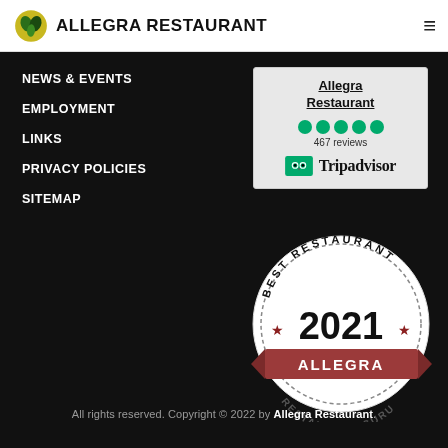ALLEGRA RESTAURANT
NEWS & EVENTS
EMPLOYMENT
LINKS
PRIVACY POLICIES
SITEMAP
[Figure (logo): Tripadvisor widget for Allegra Restaurant showing 5 green dots and 467 reviews]
[Figure (logo): Best Restaurant 2021 Allegra - Restaurant Guru badge]
All rights reserved. Copyright © 2022 by Allegra Restaurant.